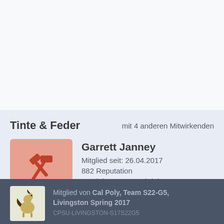Tinte & Feder
mit 4 anderen Mitwirkenden
Garrett Janney
Mitglied seit: 26.04.2017
882 Reputation
4 Anleitungen geschrieben
+ 12 mehr Auszeichnungen
Mitglied von Cal Poly, Team S22-G5, Livingston Spring 2017
CPSU-LIVINGSTON-S17S22G5